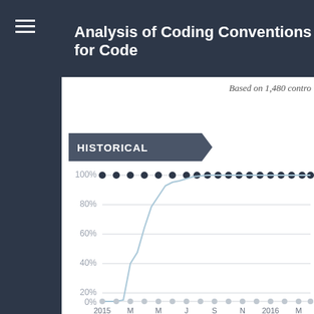Analysis of Coding Conventions for Code
Based on 1,480 contro
[Figure (continuous-plot): Line chart showing historical percentage over time from 2015 to 2016+. Two lines: one at 100% (dark dots, flat) and one rising from 0% in early 2015 to ~40% by M(arch), then rapidly rising to ~95% by J(une), stabilizing near 100% thereafter. X-axis shows: 2015, M, M, J, S, N, 2016, M. Y-axis shows: 0%, 20%, 40%, 60%, 80%, 100%.]